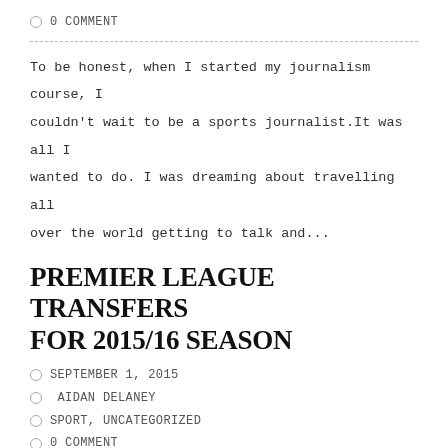0 COMMENT
To be honest, when I started my journalism course, I couldn't wait to be a sports journalist.It was all I wanted to do. I was dreaming about travelling all over the world getting to talk and...
PREMIER LEAGUE TRANSFERS FOR 2015/16 SEASON
SEPTEMBER 1, 2015
AIDAN DELANEY
SPORT, UNCATEGORIZED
0 COMMENT
Well what a summer. For the first time in it's history, the transfer window passed a massive £860 million